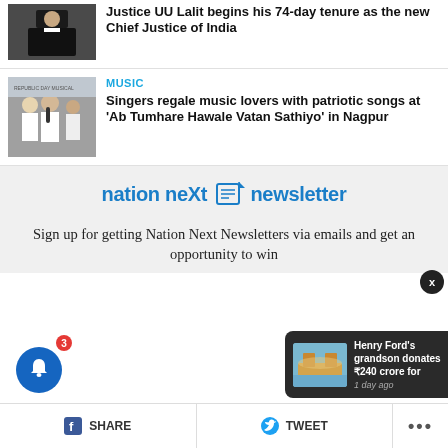[Figure (photo): Photo of a judge in black robe and white collar]
Justice UU Lalit begins his 74-day tenure as the new Chief Justice of India
[Figure (photo): Photo of singers at a music event]
MUSIC
Singers regale music lovers with patriotic songs at 'Ab Tumhare Hawale Vatan Sathiyo' in Nagpur
[Figure (logo): nation neXt newsletter logo]
Sign up for getting Nation Next Newsletters via emails and get an opportunity to win
[Figure (photo): Notification popup: Henry Ford's grandson donates ₹240 crore for, 1 day ago]
Henry Ford's grandson donates ₹240 crore for
1 day ago